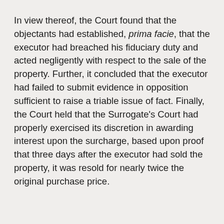In view thereof, the Court found that the objectants had established, prima facie, that the executor had breached his fiduciary duty and acted negligently with respect to the sale of the property. Further, it concluded that the executor had failed to submit evidence in opposition sufficient to raise a triable issue of fact. Finally, the Court held that the Surrogate's Court had properly exercised its discretion in awarding interest upon the surcharge, based upon proof that three days after the executor had sold the property, it was resold for nearly twice the original purchase price.